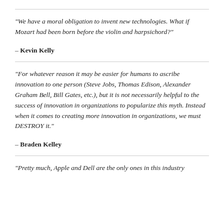“We have a moral obligation to invent new technologies. What if Mozart had been born before the violin and harpsichord?”
– Kevin Kelly
“For whatever reason it may be easier for humans to ascribe innovation to one person (Steve Jobs, Thomas Edison, Alexander Graham Bell, Bill Gates, etc.), but it is not necessarily helpful to the success of innovation in organizations to popularize this myth. Instead when it comes to creating more innovation in organizations, we must DESTROY it.”
– Braden Kelley
“Pretty much, Apple and Dell are the only ones in this industry